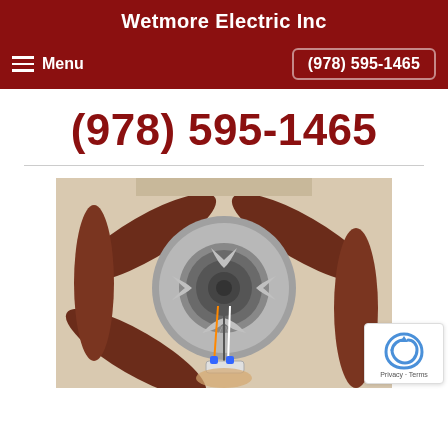Wetmore Electric Inc
Menu   (978) 595-1465
(978) 595-1465
[Figure (photo): Underside view of a ceiling fan being installed or wired, showing silver/brushed nickel motor housing with five dark wood-tone blades and electrical wires hanging down, with a hand holding wire connectors at the bottom.]
[Figure (other): Google reCAPTCHA badge with Privacy and Terms text]